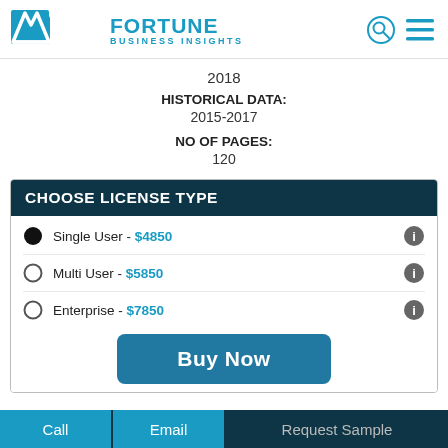Fortune Business Insights
2018
HISTORICAL DATA: 2015-2017
NO OF PAGES: 120
CHOOSE LICENSE TYPE
Single User - $4850
Multi User - $5850
Enterprise - $7850
Buy Now
Call  Email  Request Sample